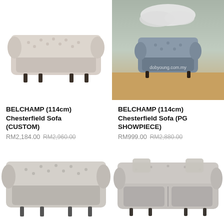[Figure (photo): Beige/cream Chesterfield sofa (2-seater) on white background]
[Figure (photo): Grey Chesterfield armchair with decorative clouds above and wooden floor setting, watermark dobyoung.com.my]
BELCHAMP (114cm) Chesterfield Sofa (CUSTOM)
RM2,184.00 RM2,960.00
BELCHAMP (114cm) Chesterfield Sofa (PG SHOWPIECE)
RM999.00 RM2,880.00
[Figure (photo): Light grey tufted Chesterfield loveseat, partial view, white background]
[Figure (photo): Light grey Chesterfield 3-seater sofa with two scatter cushions, white background]